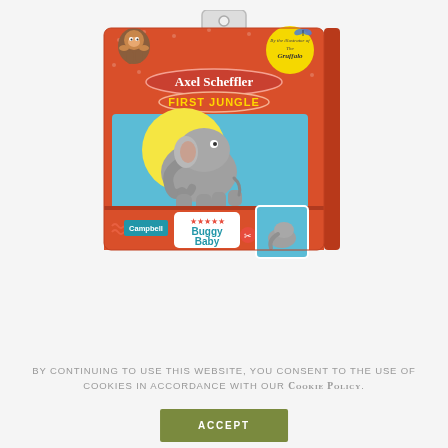[Figure (photo): Product packaging for 'Axel Scheffler First Jungle Buggy Baby' book set by Campbell. Red box with illustration of elephant, monkey, and yellow badge referencing The Gruffalo illustrator. Includes mini book preview and Buggy Baby branding.]
By continuing to use this website, you consent to the use of cookies in accordance with our Cookie Policy.
ACCEPT